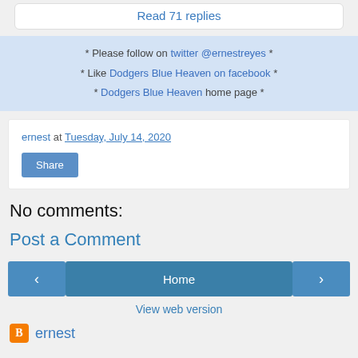Read 71 replies
* Please follow on twitter @ernestreyes *
* Like Dodgers Blue Heaven on facebook *
* Dodgers Blue Heaven home page *
ernest at Tuesday, July 14, 2020
Share
No comments:
Post a Comment
< Home > View web version
ernest